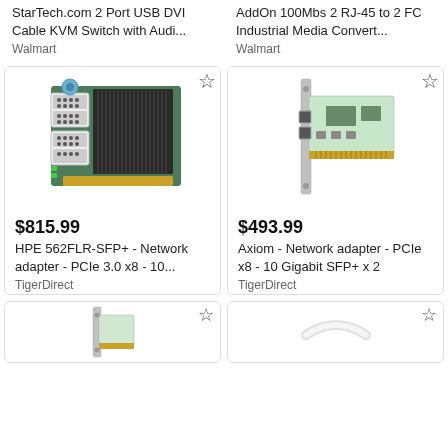StarTech.com 2 Port USB DVI Cable KVM Switch with Audi...
Walmart
AddOn 100Mbs 2 RJ-45 to 2 FC Industrial Media Convert...
Walmart
[Figure (photo): HPE 562FLR-SFP+ network adapter card, green PCB with black heatsink fins and two SFP+ ports]
[Figure (photo): Axiom Network adapter card, PCIe x8, with two SFP+ ports on a low-profile card]
$815.99
HPE 562FLR-SFP+ - Network adapter - PCIe 3.0 x8 - 10...
TigerDirect
$493.99
Axiom - Network adapter - PCIe x8 - 10 Gigabit SFP+ x 2
TigerDirect
[Figure (photo): Partial view of a network card or bracket, bottom left]
[Figure (photo): Partial view of a white cable or device, bottom right]